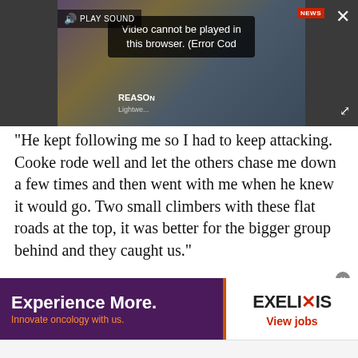[Figure (screenshot): Embedded video player showing error message 'Video cannot be played in this browser. (Error Cod' with PLAY SOUND overlay, close button, and expand button. Dark background with video thumbnail showing fabric/material imagery and text 'REASON Lightwe...']
“He kept following me so I had to keep attacking. Cooke rode well and let the others chase me down a few times and then went with me when he knew it would go. Two small climbers with these flat roads at the top, it was better for the bigger group behind and they caught us.”
Advertisement
[Figure (screenshot): Advertisement banner for Exelixis with purple/maroon background on left reading 'Experience More. Innovate oncology with us.' with orange accent stripe, and white background on right showing Exelixis logo and 'View jobs' link in red.]